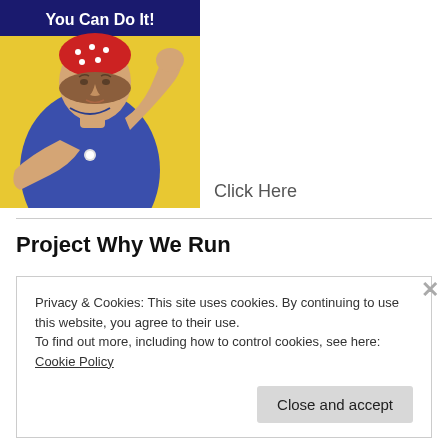[Figure (illustration): Rosie the Riveter 'We Can Do It!' poster illustration showing a woman in blue workwear flexing her arm with a yellow background and blue banner with white text 'You Can Do It!']
Click Here
Project Why We Run
Privacy & Cookies: This site uses cookies. By continuing to use this website, you agree to their use.
To find out more, including how to control cookies, see here: Cookie Policy
Close and accept